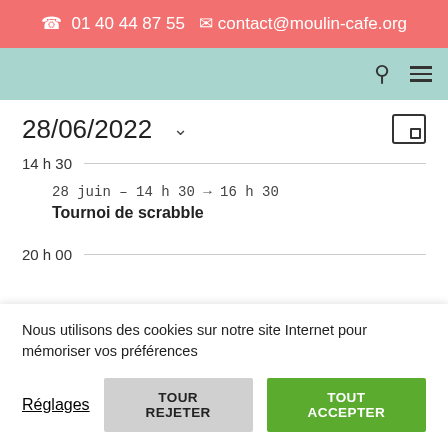☎ 01 40 44 87 55 ✉ contact@moulin-cafe.org
28/06/2022 ˅
14 h 30
28 juin – 14 h 30 → 16 h 30
Tournoi de scrabble
20 h 00
Nous utilisons des cookies sur notre site Internet pour mémoriser vos préférences
Réglages | TOUR REJETER | TOUT ACCEPTER